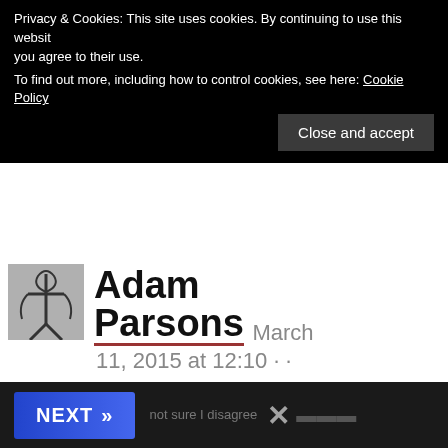Privacy & Cookies: This site uses cookies. By continuing to use this website, you agree to their use.
To find out more, including how to control cookies, see here: Cookie Policy
Close and accept
Adam Parsons
March 11, 2015 at 12:10 · ·
Ha Ha, fair enough, thing is, I'm talking about what was done, not what should have been
NEXT »
not sure I disagree